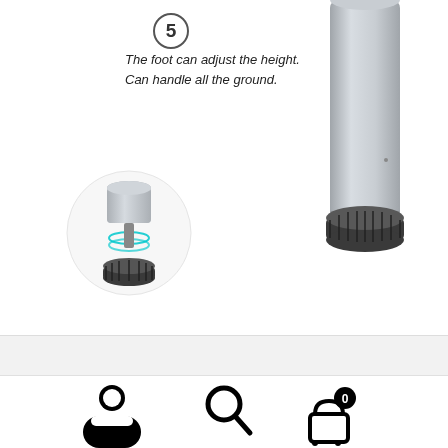[Figure (photo): Close-up of adjustable furniture foot/leveling foot showing screw mechanism with blue spiral rings indicator, small cylindrical metal part on top, and black knurled base]
The foot can adjust the height.
Can handle all the ground.
[Figure (photo): Large silver/aluminum table leg with black adjustable foot at bottom, showing full leg on white background]
[Figure (photo): Section 6: Safety edge design — circular dark grey badge showing two product bottles (yellow label and white label) on the right side]
Safety edge design.
[Figure (infographic): Bottom navigation bar with person/account icon, search magnifying glass icon, and shopping basket icon with badge showing 0]